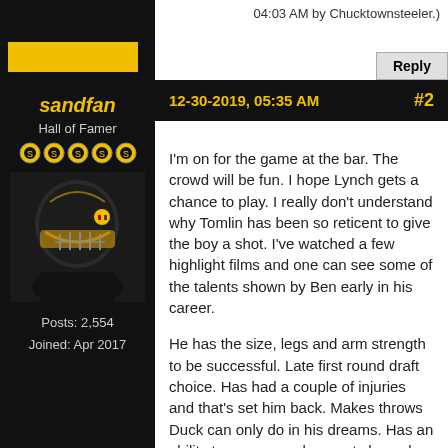04:03 AM by Chucktownsteeler.)
sandfan
Hall of Famer
Posts: 2,554
Joined: Apr 2017
12-30-2019, 05:35 AM  #2
I'm on for the game at the bar. The crowd will be fun. I hope Lynch gets a chance to play. I really don't understand why Tomlin has been so reticent to give the boy a shot. I've watched a few highlight films and one can see some of the talents shown by Ben early in his career.

He has the size, legs and arm strength to be successful. Late first round draft choice. Has had a couple of injuries and that's set him back. Makes throws Duck can only do in his dreams. Has an ability to escape and run not shown by Duck or MR. The guy has only had a handful of starts.